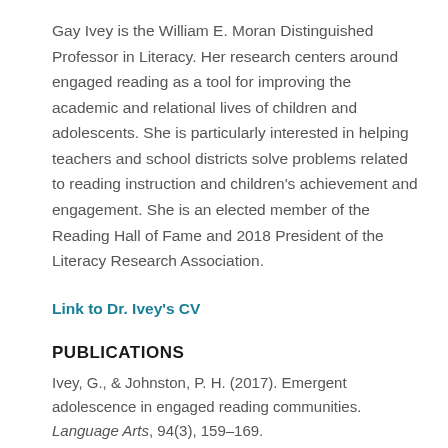Gay Ivey is the William E. Moran Distinguished Professor in Literacy. Her research centers around engaged reading as a tool for improving the academic and relational lives of children and adolescents. She is particularly interested in helping teachers and school districts solve problems related to reading instruction and children's achievement and engagement. She is an elected member of the Reading Hall of Fame and 2018 President of the Literacy Research Association.
Link to Dr. Ivey's CV
PUBLICATIONS
Ivey, G., & Johnston, P. H. (2017). Emergent adolescence in engaged reading communities. Language Arts, 94(3), 159–169.